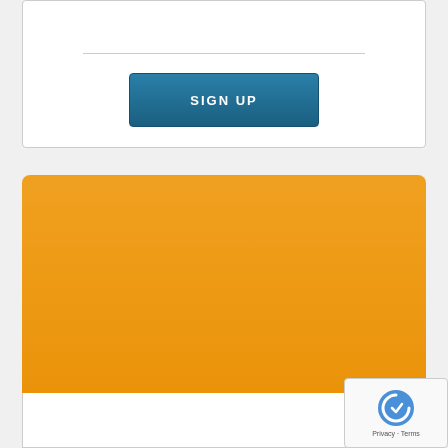SIGN UP
Pro
$39
per month
Full Email Support